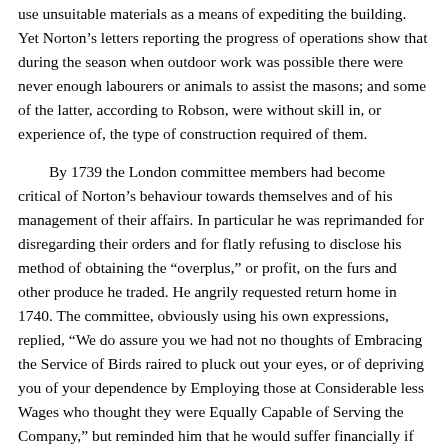use unsuitable materials as a means of expediting the building. Yet Norton's letters reporting the progress of operations show that during the season when outdoor work was possible there were never enough labourers or animals to assist the masons; and some of the latter, according to Robson, were without skill in, or experience of, the type of construction required of them.
By 1739 the London committee members had become critical of Norton's behaviour towards themselves and of his management of their affairs. In particular he was reprimanded for disregarding their orders and for flatly refusing to disclose his method of obtaining the “overplus,” or profit, on the furs and other produce he traded. He angrily requested return home in 1740. The committee, obviously using his own expressions, replied, “We do assure you we had not no thoughts of Embracing the Service of Birds raired to pluck out your eyes, or of depriving you of your dependence by Employing those at Considerable less Wages who thought they were Equally Capable of Serving the Company,” but reminded him that he would suffer financially if he broke his